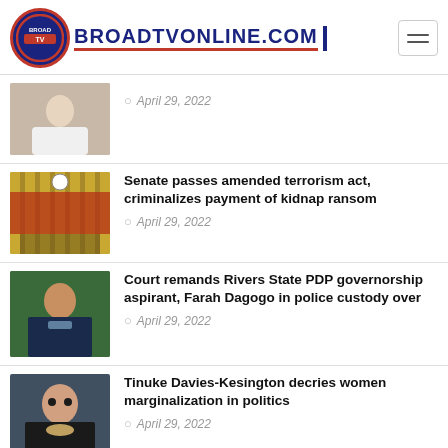BROADTVONLINE.COM
[Figure (photo): Person in white clothing with hands clasped]
April 29, 2022
Senate passes amended terrorism act, criminalizes payment of kidnap ransom
[Figure (photo): Nigerian Senate chamber interior]
April 29, 2022
Court remands Rivers State PDP governorship aspirant, Farah Dagogo in police custody over
[Figure (photo): Man in suit with green background]
April 29, 2022
Tinuke Davies-Kesington decries women marginalization in politics
[Figure (photo): Woman with glasses and necklace]
April 29, 2022